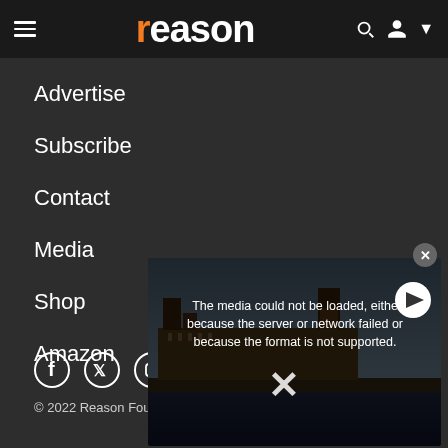reason (navigation bar with hamburger menu, logo, search and account icons)
Advertise
Subscribe
Contact
Media
Shop
Amazon
Social icons: Facebook, Twitter, Instagram, and additional icon
© 2022 Reason Fou...
[Figure (screenshot): Video player overlay showing error message: 'The media could not be loaded, either because the server or network failed or because the format is not supported.' with a close button and play button, over a background image of the Houses of Parliament in London.]